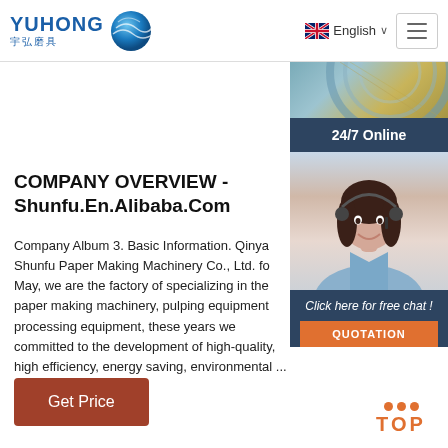YUHONG 宇弘磨具 | English | Navigation
[Figure (screenshot): Website screenshot showing Yuhong logo, English language selector, hamburger menu, hero product image, 24/7 Online customer service banner with agent photo, chat popup with QUOTATION button, company overview section, Get Price button, and TOP navigation button]
COMPANY OVERVIEW - Shunfu.En.Alibaba.Com
Company Album 3. Basic Information. Qinya Shunfu Paper Making Machinery Co., Ltd. fo May, we are the factory of specializing in the paper making machinery, pulping equipment processing equipment, these years we committed to the development of high-quality, high efficiency, energy saving, environmental ...